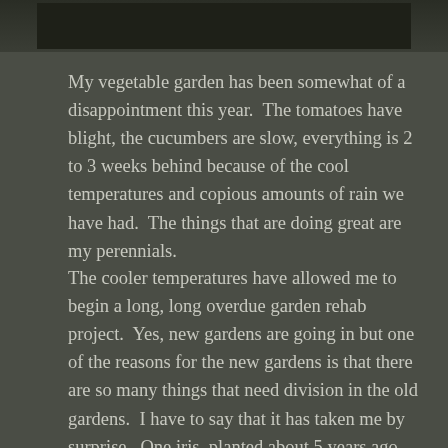[Figure (photo): Partial view of a dark photograph at the top of the page, showing a garden or plant image with very dark tones]
My vegetable garden has been somewhat of a disappointment this year.  The tomatoes have blight, the cucumbers are slow, everything is 2 to 3 weeks behind because of the cool temperatures and copious amounts of rain we have had.  The things that are doing great are my perennials.
The cooler temperatures have allowed me to begin a long, long overdue garden rehab project.  Yes, new gardens are going in but one of the reasons for the new gardens is that there are so many things that need division in the old gardens.  I have to say that it has taken me by surprise.  One iris, planted about 5 years ago, yielded a garden full of new ones.